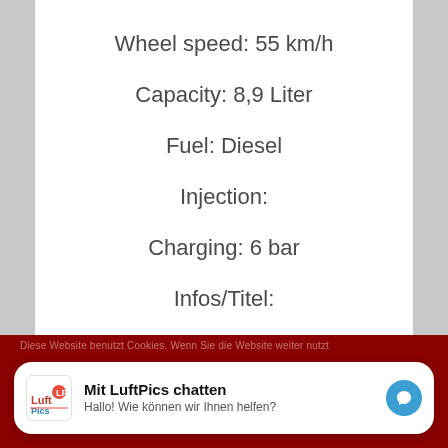Wheel speed: 55 km/h
Capacity: 8,9 Liter
Fuel: Diesel
Injection:
Charging: 6 bar
Infos/Titel:
Diese Website benutzt Cookies. Wenn Sie die Website weiter nutzt
Mit LuftPics chatten
Hallo! Wie können wir Ihnen helfen?